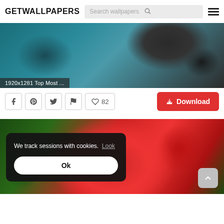GETWALLPAPERS  Search wallpapers  [hamburger menu]
[Figure (screenshot): Aerial/top-down photo of snowy mountains and teal glacial water, with caption '1920x1281 Top Most ...' overlaid at bottom-left]
1920x1281 Top Most ...
[Figure (infographic): Action bar with Facebook, Pinterest, Twitter, Flag icon buttons; heart with '82' likes; and a red Download button]
[Figure (photo): Close-up photo of bright red roses with green foliage background. A dark cookie-consent overlay is shown with text 'We track sessions with cookies. Look' and an 'Ok' button.]
We track sessions with cookies.  Look
Ok